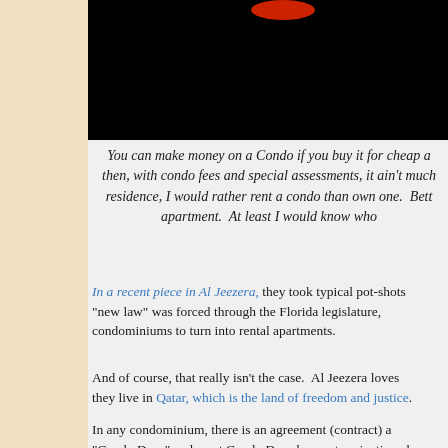[Figure (photo): Dark/black image at top of page with a red oval/button element visible at the top]
You can make money on a Condo if you buy it for cheap a... then, with condo fees and special assessments, it ain't much... residence, I would rather rent a condo than own one.  Bett... apartment.  At least I would know who...
In a recent piece in Al Jeezera, they took typical pot-shots... "new law" was forced through the Florida legislature,... condominiums to turn into rental apartments.
And of course, that really isn't the case.  Al Jeezera loves... they live in Qatar, which is the land of freedom and justice.
In any condominium, there is an agreement (contract) a... "Condo Docs" and most Condo Docs have a termination cl...